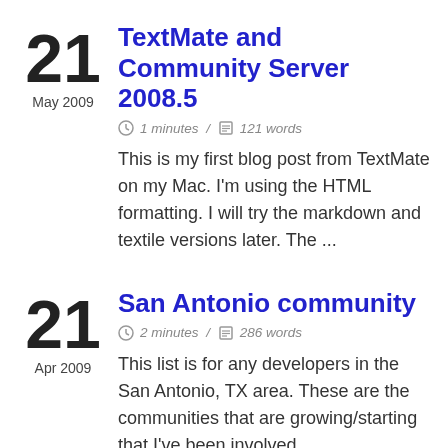TextMate and Community Server 2008.5
1 minutes | 121 words
This is my first blog post from TextMate on my Mac. I'm using the HTML formatting. I will try the markdown and textile versions later. The ...
San Antonio community
2 minutes | 286 words
This list is for any developers in the San Antonio, TX area. These are the communities that are growing/starting that I've been involved ...